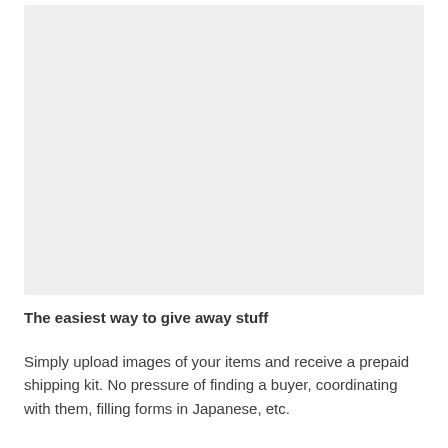[Figure (other): Large light gray placeholder image area]
The easiest way to give away stuff
Simply upload images of your items and receive a prepaid shipping kit. No pressure of finding a buyer, coordinating with them, filling forms in Japanese, etc.